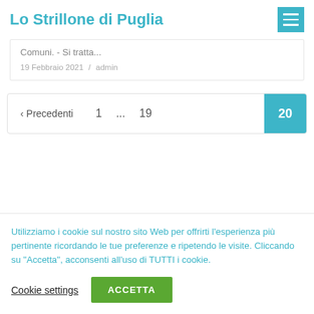Lo Strillone di Puglia
Comuni. - Si tratta...
19 Febbraio 2021 / admin
< Precedenti  1  ...  19  20
Utilizziamo i cookie sul nostro sito Web per offrirti l'esperienza più pertinente ricordando le tue preferenze e ripetendo le visite. Cliccando su "Accetta", acconsenti all'uso di TUTTI i cookie.
Cookie settings
ACCETTA